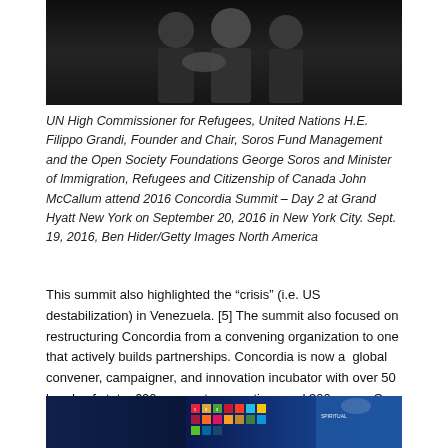[Figure (photo): People shaking hands at a formal event, dark background]
UN High Commissioner for Refugees, United Nations H.E. Filippo Grandi, Founder and Chair, Soros Fund Management and the Open Society Foundations George Soros and Minister of Immigration, Refugees and Citizenship of Canada John McCallum attend 2016 Concordia Summit – Day 2 at Grand Hyatt New York on September 20, 2016 in New York City. Sept. 19, 2016, Ben Hider/Getty Images North America
This summit also highlighted the “crisis” (i.e. US destabilization) in Venezuela. [5] The summit also focused on restructuring Concordia from a convening organization to one that actively builds partnerships. Concordia is now a  global convener, campaigner, and innovation incubator with over 50 heads of state, 600 corporate executives and 300 press. Over 20 trillion in private sector assets are represented. [Source]
[Figure (photo): Stage display showing UN Sustainable Development Goals (SDG) colored tiles/icons on large screens with blue lighting]